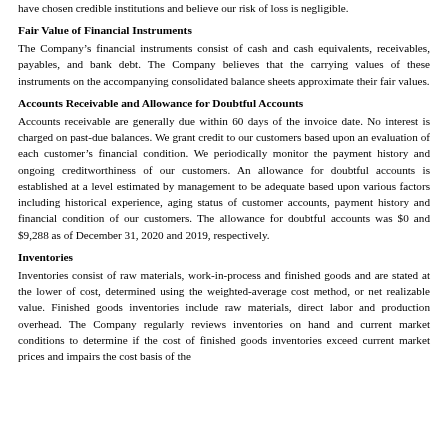have chosen credible institutions and believe our risk of loss is negligible.
Fair Value of Financial Instruments
The Company's financial instruments consist of cash and cash equivalents, receivables, payables, and bank debt. The Company believes that the carrying values of these instruments on the accompanying consolidated balance sheets approximate their fair values.
Accounts Receivable and Allowance for Doubtful Accounts
Accounts receivable are generally due within 60 days of the invoice date. No interest is charged on past-due balances. We grant credit to our customers based upon an evaluation of each customer's financial condition. We periodically monitor the payment history and ongoing creditworthiness of our customers. An allowance for doubtful accounts is established at a level estimated by management to be adequate based upon various factors including historical experience, aging status of customer accounts, payment history and financial condition of our customers. The allowance for doubtful accounts was $0 and $9,288 as of December 31, 2020 and 2019, respectively.
Inventories
Inventories consist of raw materials, work-in-process and finished goods and are stated at the lower of cost, determined using the weighted-average cost method, or net realizable value. Finished goods inventories include raw materials, direct labor and production overhead. The Company regularly reviews inventories on hand and current market conditions to determine if the cost of finished goods inventories exceed current market prices and impairs the cost basis of the